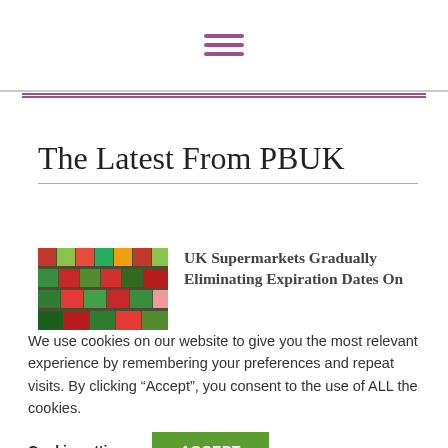[Figure (other): Hamburger menu icon with three purple horizontal lines]
The Latest From PBUK
[Figure (photo): Colorful produce/vegetable display on supermarket shelves]
UK Supermarkets Gradually Eliminating Expiration Dates On
We use cookies on our website to give you the most relevant experience by remembering your preferences and repeat visits. By clicking “Accept”, you consent to the use of ALL the cookies.
Cookie settings  ACCEPT